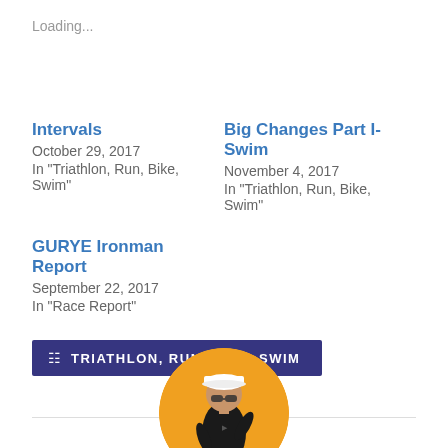Loading...
Intervals
October 29, 2017
In "Triathlon, Run, Bike, Swim"
Big Changes Part I- Swim
November 4, 2017
In "Triathlon, Run, Bike, Swim"
GURYE Ironman Report
September 22, 2017
In "Race Report"
TRIATHLON, RUN, BIKE, SWIM
[Figure (photo): Circular avatar photo of a person running in a triathlon race, wearing a black sleeveless top and white cap, with an orange background]